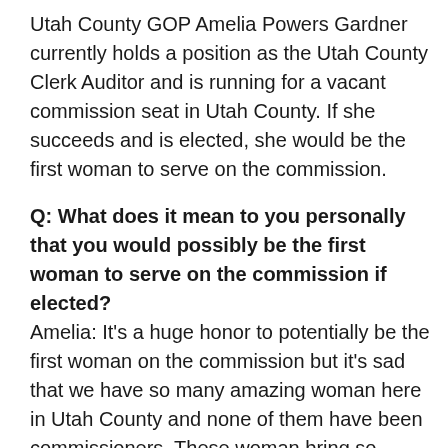Utah County GOP Amelia Powers Gardner currently holds a position as the Utah County Clerk Auditor and is running for a vacant commission seat in Utah County. If she succeeds and is elected, she would be the first woman to serve on the commission.
Q: What does it mean to you personally that you would possibly be the first woman to serve on the commission if elected?
Amelia: It's a huge honor to potentially be the first woman on the commission but it's sad that we have so many amazing woman here in Utah County and none of them have been commissioners. These woman bring so many fantastic points of view and need